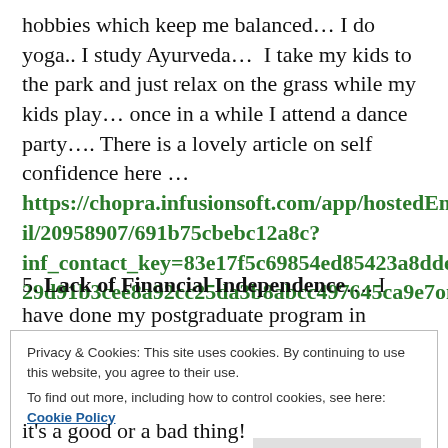hobbies which keep me balanced… I do yoga.. I study Ayurveda…  I take my kids to the park and just relax on the grass while my kids play… once in a while I attend a dance party…. There is a lovely article on self confidence here … https://chopra.infusionsoft.com/app/hostedEmail/20958907/691b75cbebc12a8c?inf_contact_key=83e17f5c69854ed85423a8dde229d91b3cee8a92cc25da3b8abcc497645ca9e7one
5. Lack of Financial Independence…. I have done my postgraduate program in Communications from MICA (one of the reputed Institutes of India)
Privacy & Cookies: This site uses cookies. By continuing to use this website, you agree to their use.
To find out more, including how to control cookies, see here:
Cookie Policy
Close and accept
it's a good or a bad thing!